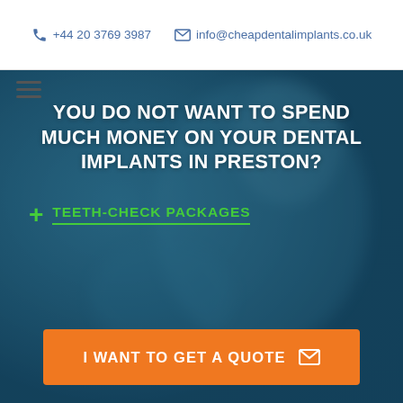+44 20 3769 3987  info@cheapdentalimplants.co.uk
YOU DO NOT WANT TO SPEND MUCH MONEY ON YOUR DENTAL IMPLANTS IN PRESTON?
+ TEETH-CHECK PACKAGES
[Figure (photo): Background photo of a person at the dentist with a blue-teal overlay]
I WANT TO GET A QUOTE